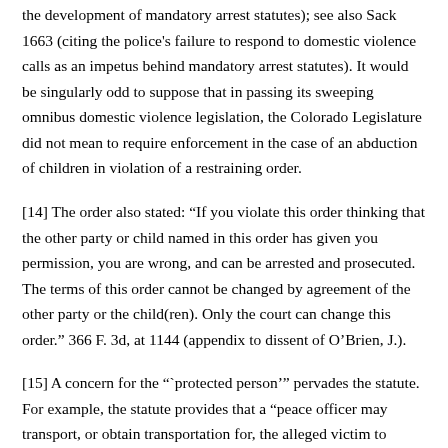the development of mandatory arrest statutes); see also Sack 1663 (citing the police's failure to respond to domestic violence calls as an impetus behind mandatory arrest statutes). It would be singularly odd to suppose that in passing its sweeping omnibus domestic violence legislation, the Colorado Legislature did not mean to require enforcement in the case of an abduction of children in violation of a restraining order.
[14] The order also stated: “If you violate this order thinking that the other party or child named in this order has given you permission, you are wrong, and can be arrested and prosecuted. The terms of this order cannot be changed by agreement of the other party or the child(ren). Only the court can change this order.” 366 F. 3d, at 1144 (appendix to dissent of O’Brien, J.).
[15] A concern for the “`protected person’” pervades the statute. For example, the statute provides that a “peace officer may transport, or obtain transportation for, the alleged victim to shelter.